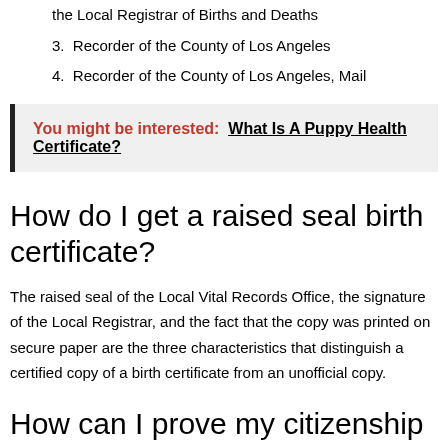the Local Registrar of Births and Deaths
3. Recorder of the County of Los Angeles
4. Recorder of the County of Los Angeles, Mail
You might be interested:  What Is A Puppy Health Certificate?
How do I get a raised seal birth certificate?
The raised seal of the Local Vital Records Office, the signature of the Local Registrar, and the fact that the copy was printed on secure paper are the three characteristics that distinguish a certified copy of a birth certificate from an unofficial copy.
How can I prove my citizenship without a birth certificate?